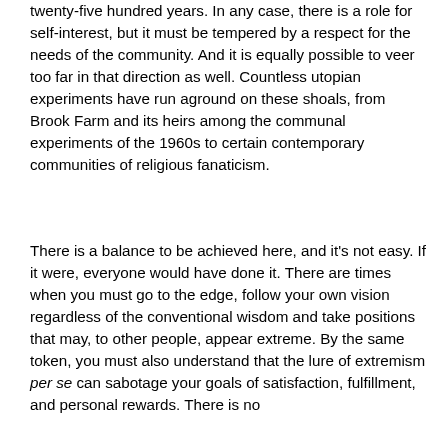twenty-five hundred years. In any case, there is a role for self-interest, but it must be tempered by a respect for the needs of the community. And it is equally possible to veer too far in that direction as well. Countless utopian experiments have run aground on these shoals, from Brook Farm and its heirs among the communal experiments of the 1960s to certain contemporary communities of religious fanaticism.
There is a balance to be achieved here, and it's not easy. If it were, everyone would have done it. There are times when you must go to the edge, follow your own vision regardless of the conventional wisdom and take positions that may, to other people, appear extreme. By the same token, you must also understand that the lure of extremism per se can sabotage your goals of satisfaction, fulfillment, and personal rewards. There is no